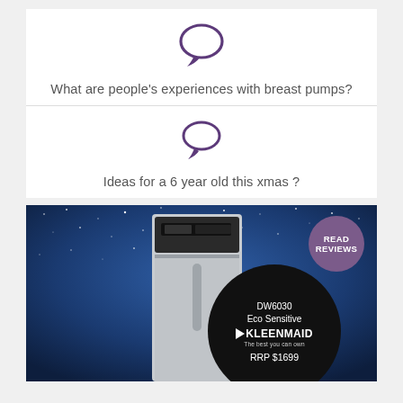[Figure (illustration): Purple speech bubble icon]
What are people's experiences with breast pumps?
[Figure (illustration): Purple speech bubble icon]
Ideas for a 6 year old this xmas ?
[Figure (photo): Advertisement for Kleenmaid DW6030 Eco Sensitive dishwasher. Shows a stainless steel dishwasher against a starry night sky background. There is a purple circular badge saying READ REVIEWS in the top right, and a black circle with product details: DW6030 Eco Sensitive, Kleenmaid logo with tagline 'The best you can own', and RRP $1699.]